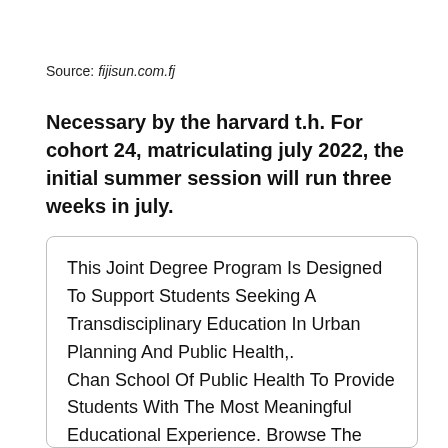Source: fijisun.com.fj
Necessary by the harvard t.h. For cohort 24, matriculating july 2022, the initial summer session will run three weeks in july.
This Joint Degree Program Is Designed To Support Students Seeking A Transdisciplinary Education In Urban Planning And Public Health,. Chan School Of Public Health To Provide Students With The Most Meaningful Educational Experience. Browse The Latest Online Public Health Courses From Harvard University, Including Predictionx: Racism Is A Public Health Crisis Harvard Chan School Stands Together To Help Fight Structural Racism.